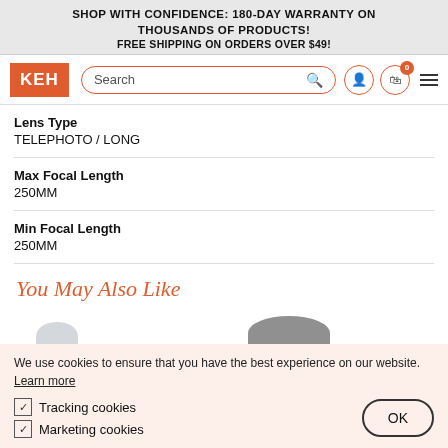SHOP WITH CONFIDENCE: 180-DAY WARRANTY ON THOUSANDS OF PRODUCTS!
FREE SHIPPING ON ORDERS OVER $49!
[Figure (logo): KEH camera store logo and navigation bar with search field, user icon, cart icon with badge 0, and hamburger menu]
| Lens Type | TELEPHOTO / LONG |
| Max Focal Length | 250MM |
| Min Focal Length | 250MM |
You May Also Like
[Figure (photo): Partial product images at bottom of page — two lens images partially visible]
We use cookies to ensure that you have the best experience on our website. Learn more
Tracking cookies
Marketing cookies